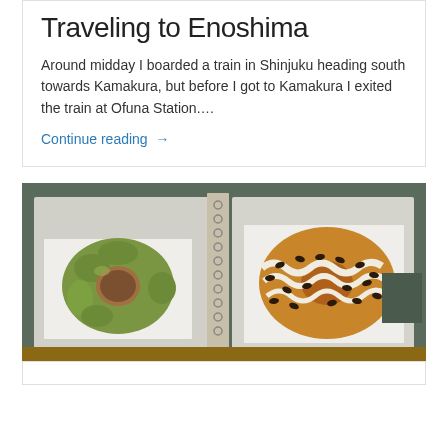Traveling to Enoshima
Around midday I boarded a train in Shinjuku heading south towards Kamakura, but before I got to Kamakura I exited the train at Ofuna Station….
Continue reading →
[Figure (photo): Two donuts on a dark tray with white napkins. Left donut has green matcha frosting; right donut has cream and chocolate chip toppings.]